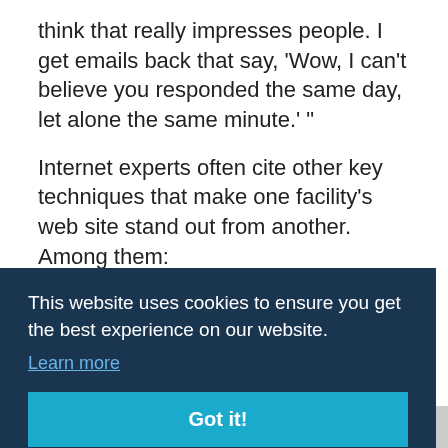think that really impresses people. I get emails back that say, 'Wow, I can't believe you responded the same day, let alone the same minute.' "
Internet experts often cite other key techniques that make one facility's web site stand out from another. Among them:
• Request an e-mail address from every program registrant, new member and any other person
This website uses cookies to ensure you get the best experience on our website.
Learn more
Got it!
[Figure (other): Advertisement banner with 'Athletic Business' text and 'CLICK HERE' button]